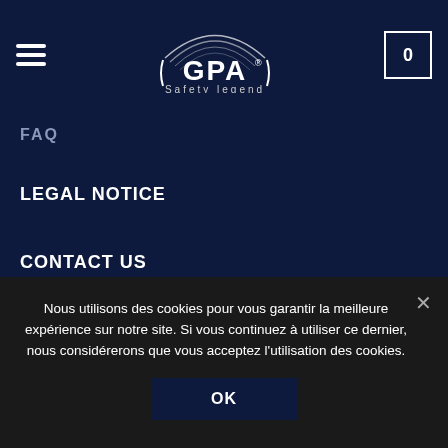[Figure (logo): GPA Safety Legend logo — white text on dark navy, with arc graphic above]
FAQ
LEGAL NOTICE
CONTACT US
DELIVERY
FAQ
Nous utilisons des cookies pour vous garantir la meilleure expérience sur notre site. Si vous continuez à utiliser ce dernier, nous considérerons que vous acceptez l'utilisation des cookies.
OK